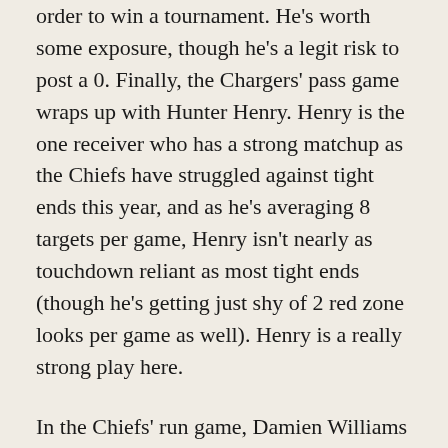order to win a tournament. He's worth some exposure, though he's a legit risk to post a 0. Finally, the Chargers' pass game wraps up with Hunter Henry. Henry is the one receiver who has a strong matchup as the Chiefs have struggled against tight ends this year, and as he's averaging 8 targets per game, Henry isn't nearly as touchdown reliant as most tight ends (though he's getting just shy of 2 red zone looks per game as well). Henry is a really strong play here.
In the Chiefs' run game, Damien Williams took command of the backfield last week with a 73% snap share and 24 total touches, including 5 targets. LeSean McCoy was a surprise healthy scratch, while Darrel Williams backed up Damien and saw 3 touches. Preseason and best ball darling Darwin Thompson even got in on the fun with 2 touches of